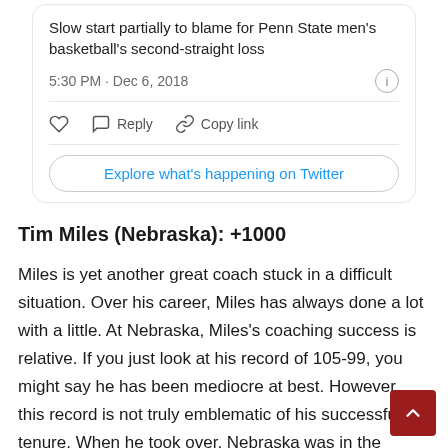[Figure (screenshot): Embedded tweet card showing a partial headline about Penn State men's basketball's second-straight loss, timestamp 5:30 PM · Dec 6, 2018, with like/reply/copy link actions and an Explore button.]
Tim Miles (Nebraska): +1000
Miles is yet another great coach stuck in a difficult situation. Over his career, Miles has always done a lot with a little. At Nebraska, Miles's coaching success is relative. If you just look at his record of 105-99, you might say he has been mediocre at best. However, this record is not truly emblematic of his successful tenure. When he took over, Nebraska was in the doldrums of the college basketball world and now Miles has resurrected the